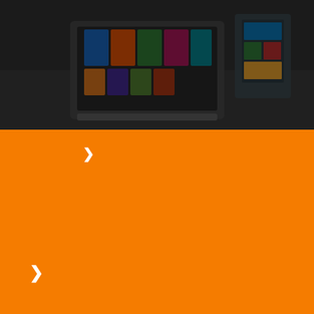[Figure (photo): Dark toned photo of a laptop and tablets/books on a desk, viewed from above, with colorful covers visible on screen and around the workspace]
[Figure (infographic): Orange background section with white chevron/arrow icons indicating navigation or menu items]
[Figure (photo): Card with two panels: left panel shows text 'Benefits of Tukhm-e-Balinga' in bold dark and gray letters on light gray background; right panel shows a glass of chia seeds with a wooden spoon and text 'Benefits of fruits and vegetables']